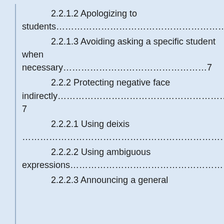2.2.1.2 Apologizing to students…
2.2.1.3 Avoiding asking a specific student when necessary………………………………………7
2.2.2 Protecting negative face indirectly…………………………………………………7
2.2.2.1 Using deixis………………………………………………………
2.2.2.2 Using ambiguous expressions…………………………………………………
2.2.2.3 Announcing a general